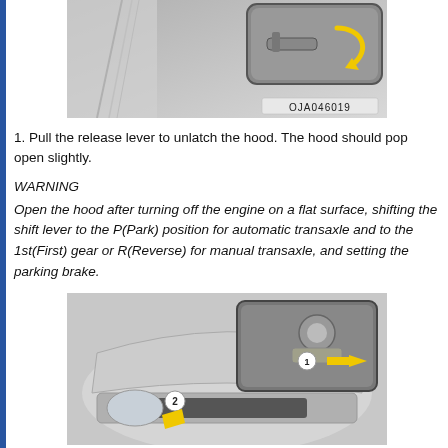[Figure (illustration): Interior vehicle image showing a release lever mechanism with a yellow curved arrow indicating pull direction. Label OJA046019 shown at bottom right.]
1. Pull the release lever to unlatch the hood. The hood should pop open slightly.
WARNING
Open the hood after turning off the engine on a flat surface, shifting the shift lever to the P(Park) position for automatic transaxle and to the 1st(First) gear or R(Reverse) for manual transaxle, and setting the parking brake.
[Figure (illustration): Exterior front view of a vehicle showing hood release steps. Step 2 arrow at front bumper area. Inset shows close-up of hood latch mechanism (step 1) with yellow arrow pointing left.]